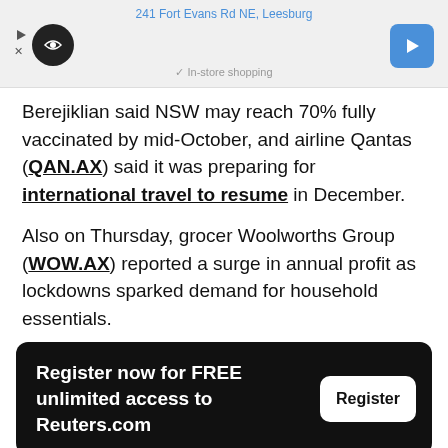[Figure (other): Advertisement banner showing '241 Fort Evans Rd NE, Leesburg' with a circular logo, play icon, close icon, and a blue navigation arrow button. Bottom text reads 'In-store shopping'.]
Berejiklian said NSW may reach 70% fully vaccinated by mid-October, and airline Qantas (QAN.AX) said it was preparing for international travel to resume in December.
Also on Thursday, grocer Woolworths Group (WOW.AX) reported a surge in annual profit as lockdowns sparked demand for household essentials.
Register now for FREE unlimited access to Reuters.com
Re [Feedback] Renju Jose; Editing by Gerry Doyle and Richard